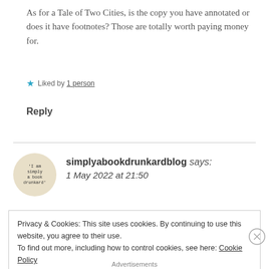As for a Tale of Two Cities, is the copy you have annotated or does it have footnotes? Those are totally worth paying money for.
Liked by 1 person
Reply
simplyabookdrunkardblog says:
1 May 2022 at 21:50
Privacy & Cookies: This site uses cookies. By continuing to use this website, you agree to their use.
To find out more, including how to control cookies, see here: Cookie Policy
Close and accept
Advertisements